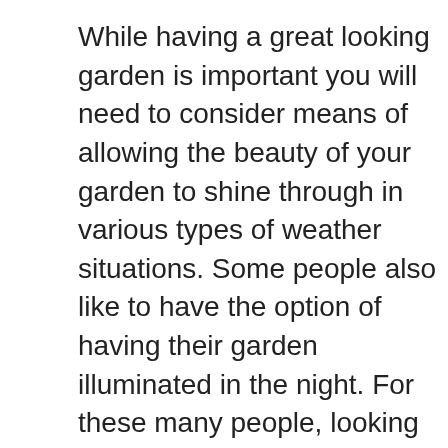While having a great looking garden is important you will need to consider means of allowing the beauty of your garden to shine through in various types of weather situations. Some people also like to have the option of having their garden illuminated in the night. For these many people, looking at various landscape lighting options will permit you the opportunity of having your garden looking just the way you want it, no matter what the natural lighting conditions are.

In order to provide the right landscape lighting conditions, you will have the choice of a wide variety of lighting fixtures. These fixtures can be in the form of lamps, lanterns, spotlights